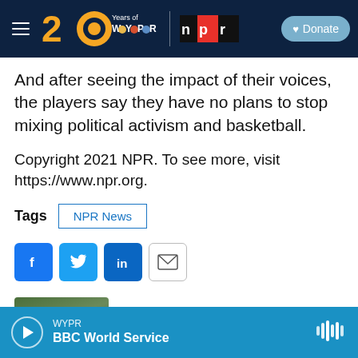WYPR 20 Years of WYPR | npr | Donate
And after seeing the impact of their voices, the players say they have no plans to stop mixing political activism and basketball.
Copyright 2021 NPR. To see more, visit https://www.npr.org.
Tags  NPR News
[Figure (infographic): Social sharing buttons: Facebook (blue), Twitter (blue), LinkedIn (blue), Email (white with border)]
Emma Peaslee
WYPR  BBC World Service